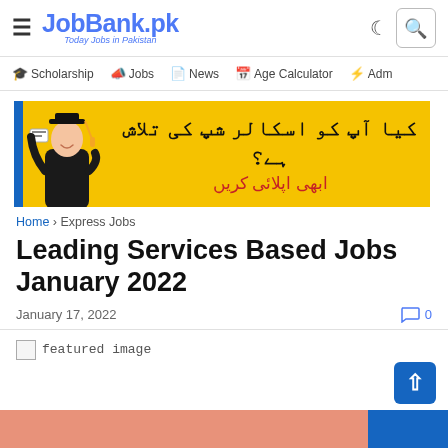JobBank.pk — Today Jobs in Pakistan
Scholarship  Jobs  News  Age Calculator  Adm
[Figure (illustration): Advertisement banner with yellow background showing a graduate in cap and gown holding diploma, with Urdu text: 'کیا آپ کو اسکالر شپ کی تلاش ہے؟ ابھی اپلائی کریں']
Home › Express Jobs
Leading Services Based Jobs January 2022
January 17, 2022   💬 0
[Figure (photo): Featured image placeholder for Leading Services Based Jobs January 2022]